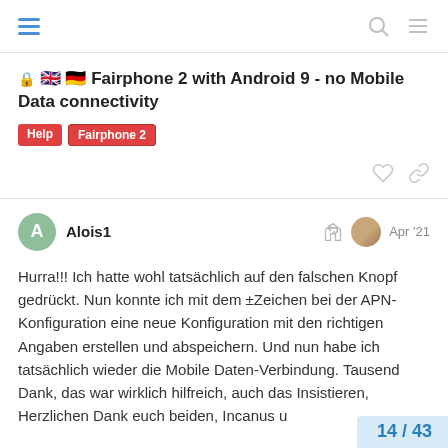Navigation bar with hamburger menu, search icon, and menu icon
🔒 🇬🇧 🇩🇪 Fairphone 2 with Android 9 - no Mobile Data connectivity
Help  Fairphone 2
Alois1  Apr '21
Hurra!!! Ich hatte wohl tatsächlich auf den falschen Knopf gedrückt. Nun konnte ich mit dem ±Zeichen bei der APN-Konfiguration eine neue Konfiguration mit den richtigen Angaben erstellen und abspeichern. Und nun habe ich tatsächlich wieder die Mobile Daten-Verbindung. Tausend Dank, das war wirklich hilfreich, auch das Insistieren, Herzlichen Dank euch beiden, Incanus u...
14 / 43